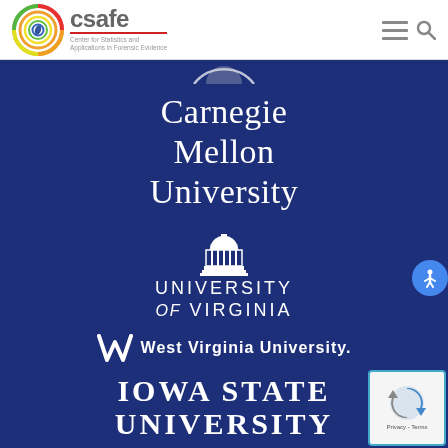csafe — Center for Statistics and Applications in Forensic Evidence
[Figure (logo): CSAFE logo with colorful swirl and text 'csafe Center for Statistics and Applications in Forensic Evidence']
[Figure (logo): Carnegie Mellon University logo in white on dark blue background]
[Figure (logo): University of Virginia logo with rotunda icon in white on dark blue background]
[Figure (logo): West Virginia University logo in white on dark blue background]
[Figure (logo): Iowa State University text logo in white on dark blue background]